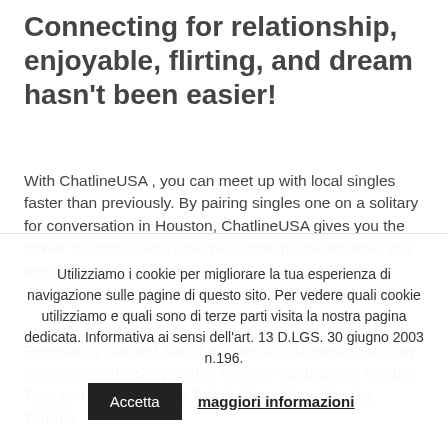Connecting for relationship, enjoyable, flirting, and dream hasn't been easier!
With ChatlineUSA , you can meet up with local singles faster than previously. By pairing singles one on a solitary for conversation in Houston, ChatlineUSA gives you the power to simply satisfy people it doesn't matter what you are considering as you.
Petersburg Stafford Stamford Stockton Modesto Sudbury Sunnyvale Surrey Syracuse Tacoma Tallahassee Tampa Temple Thousand Oaks Toledo Toms River Topeka Toronto
Utilizziamo i cookie per migliorare la tua esperienza di navigazione sulle pagine di questo sito. Per vedere quali cookie utilizziamo e quali sono di terze parti visita la nostra pagina dedicata. Informativa ai sensi dell'art. 13 D.LGS. 30 giugno 2003 n.196. Accetta maggiori informazioni